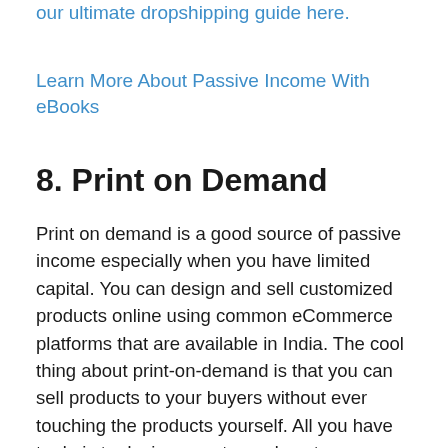our ultimate dropshipping guide here.
Learn More About Passive Income With eBooks
8. Print on Demand
Print on demand is a good source of passive income especially when you have limited capital. You can design and sell customized products online using common eCommerce platforms that are available in India. The cool thing about print-on-demand is that you can sell products to your buyers without ever touching the products yourself. All you have to do is to design, create, and post your product to the more popular market places.